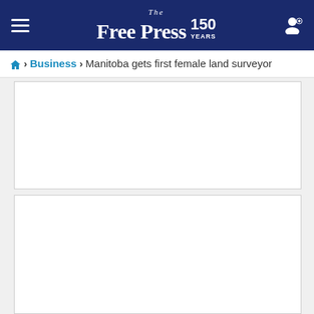The Free Press 150 YEARS
Home > Business > Manitoba gets first female land surveyor
[Figure (other): Advertisement placeholder box 1 - empty white rectangle with border]
[Figure (other): Advertisement placeholder box 2 - empty white rectangle with border]